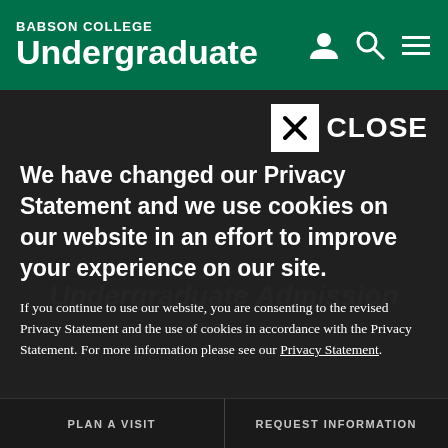BABSON COLLEGE Undergraduate
We have changed our Privacy Statement and we use cookies on our website in an effort to improve your experience on our site.
If you continue to use our website, you are consenting to the revised Privacy Statement and the use of cookies in accordance with the Privacy Statement. For more information please see our Privacy Statement.
PLAN A VISIT
REQUEST INFORMATION